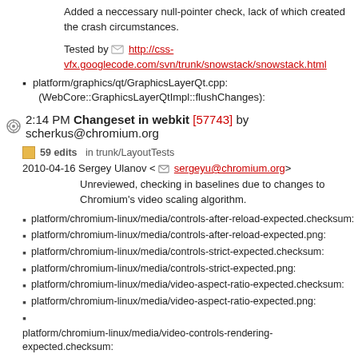Added a neccessary null-pointer check, lack of which created the crash circumstances.
Tested by http://css-vfx.googlecode.com/svn/trunk/snowstack/snowstack.html
platform/graphics/qt/GraphicsLayerQt.cpp: (WebCore::GraphicsLayerQtImpl::flushChanges):
2:14 PM Changeset in webkit [57743] by scherkus@chromium.org
59 edits   in trunk/LayoutTests
2010-04-16 Sergey Ulanov <sergeyu@chromium.org>
Unreviewed, checking in baselines due to changes to Chromium's video scaling algorithm.
platform/chromium-linux/media/controls-after-reload-expected.checksum:
platform/chromium-linux/media/controls-after-reload-expected.png:
platform/chromium-linux/media/controls-strict-expected.checksum:
platform/chromium-linux/media/controls-strict-expected.png:
platform/chromium-linux/media/video-aspect-ratio-expected.checksum:
platform/chromium-linux/media/video-aspect-ratio-expected.png:
platform/chromium-linux/media/video-controls-rendering-expected.checksum:
platform/chromium-linux/media/video-controls-rendering-expected.png:
platform/chromium-linux/media/video-display-toggle-expected.checksum:
platform/chromium-linux/media/video-display-toggle-expected.png: